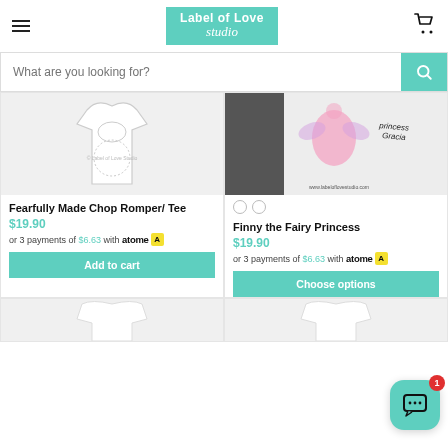Label of Love Studio — navigation header with hamburger menu, logo, and cart icon
What are you looking for? (search bar)
[Figure (photo): Partial image of a white baby romper/onesie with a circular stamp logo reading Label of Love Studio]
Fearfully Made Chop Romper/ Tee
$19.90
or 3 payments of $6.63 with atome
Add to cart
[Figure (photo): Close-up photo of a white fabric with pink fairy graphic and text 'princess Gracia', watermark www.labeloflovestudio.com]
Finny the Fairy Princess
$19.90
or 3 payments of $6.63 with atome
Choose options
[Figure (photo): Partial view of white baby clothing item (bottom row left)]
[Figure (photo): Partial view of white baby clothing item (bottom row right)]